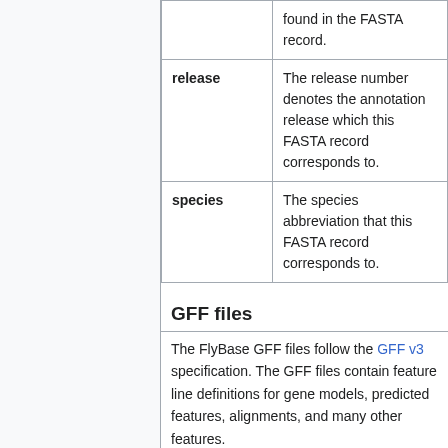| Key | Description |
| --- | --- |
| release | The release number denotes the annotation release which this FASTA record corresponds to. |
| species | The species abbreviation that this FASTA record corresponds to. |
GFF files
The FlyBase GFF files follow the GFF v3 specification. The GFF files contain feature line definitions for gene models, predicted features, alignments, and many other features.
For melanogaster, there are 4 GFF files distributed: